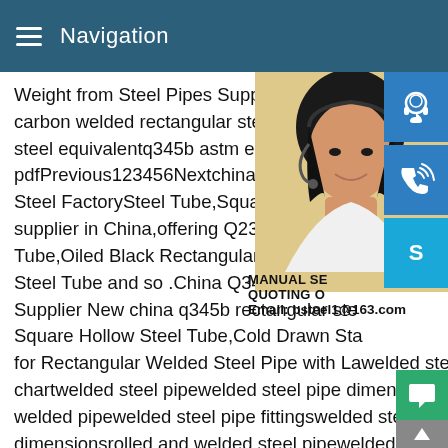Navigation
Weight from Steel Pipes Supplier orRelate carbon welded rectangular steeq345b steel equivalentq345b astm equivalentq34 pdfPrevious123456Nextchina q345b recta Steel FactorySteel Tube,Square Tube,Rou supplier in China,offering Q235B Q345b S Tube,Oiled Black Rectangular Steel Tube, Steel Tube and so .China Q345b Carbon R Supplier New china q345b rectangular ste Square Hollow Steel Tube,Cold Drawn Sta for Rectangular Welded Steel Pipe with Lawelded steel pipe size chartwelded steel pipewelded steel pipe dimensionsstainless steel welded pipewelded steel pipe fittingswelded steel pipe fittings dimensionsrolled and welded steel pipewelded steel pipe weights12345Next316 rectangular stainless square tube - asia metal316 rectangular stainless square tube .More rectangular
[Figure (photo): Woman with headset on yellow background, customer service representative]
[Figure (infographic): Blue icon buttons: customer service headset icon, phone/call icon, Skype icon]
MANUAL SE QUOTING O Email: bsteel1@163.com